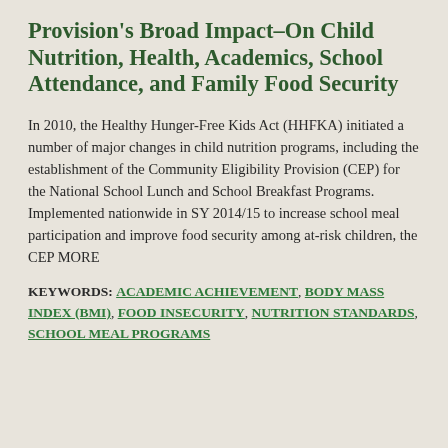Provision's Broad Impact–On Child Nutrition, Health, Academics, School Attendance, and Family Food Security
In 2010, the Healthy Hunger-Free Kids Act (HHFKA) initiated a number of major changes in child nutrition programs, including the establishment of the Community Eligibility Provision (CEP) for the National School Lunch and School Breakfast Programs. Implemented nationwide in SY 2014/15 to increase school meal participation and improve food security among at-risk children, the CEP MORE
KEYWORDS: ACADEMIC ACHIEVEMENT, BODY MASS INDEX (BMI), FOOD INSECURITY, NUTRITION STANDARDS, SCHOOL MEAL PROGRAMS